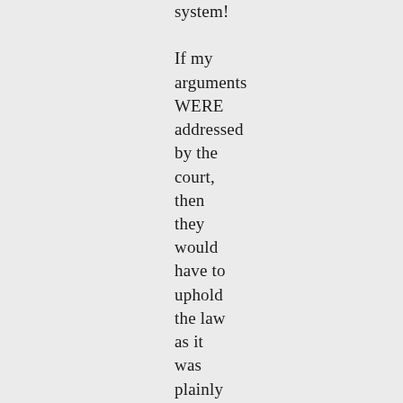system! If my arguments WERE addressed by the court, then they would have to uphold the law as it was plainly written. But, my win would have exposed the